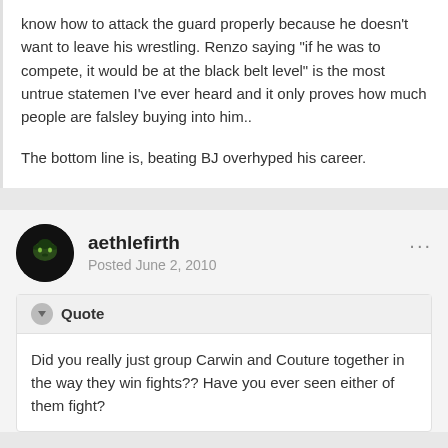know how to attack the guard properly because he doesn't want to leave his wrestling. Renzo saying "if he was to compete, it would be at the black belt level" is the most untrue statemen I've ever heard and it only proves how much people are falsley buying into him..
The bottom line is, beating BJ overhyped his career.
aethlefirth
Posted June 2, 2010
Quote
Did you really just group Carwin and Couture together in the way they win fights?? Have you ever seen either of them fight?